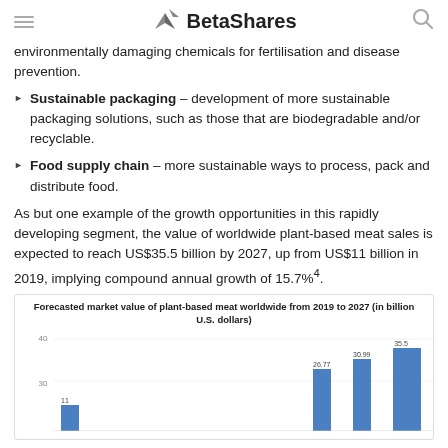BetaShares
environmentally damaging chemicals for fertilisation and disease prevention.
Sustainable packaging – development of more sustainable packaging solutions, such as those that are biodegradable and/or recyclable.
Food supply chain – more sustainable ways to process, pack and distribute food.
As but one example of the growth opportunities in this rapidly developing segment, the value of worldwide plant-based meat sales is expected to reach US$35.5 billion by 2027, up from US$11 billion in 2019, implying compound annual growth of 15.7%4.
[Figure (bar-chart): Forecasted market value of plant-based meat worldwide from 2019 to 2027 (in billion U.S. dollars)]